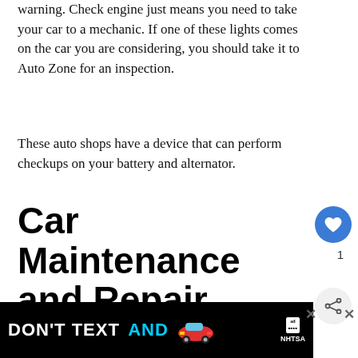warning. Check engine just means you need to take your car to a mechanic. If one of these lights comes on the car you are considering, you should take it to Auto Zone for an inspection.
These auto shops have a device that can perform checkups on your battery and alternator.
Car Maintenance and Repair Costs: Wrapping It Up
Even though car maintenance can be costly, you can avoid some of these major problems by checking the...
[Figure (other): Advertisement banner: DON'T TEXT AND [car emoji] with ad badge and NHTSA logo on black background]